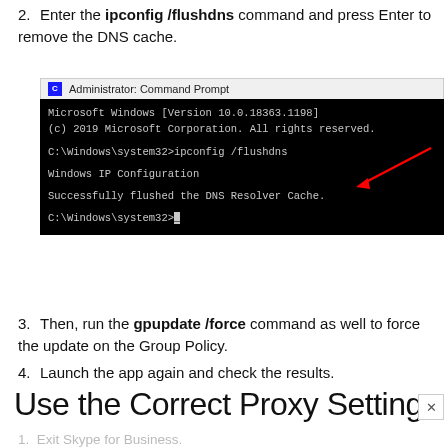2. Enter the ipconfig /flushdns command and press Enter to remove the DNS cache.
[Figure (screenshot): Administrator Command Prompt window showing: Microsoft Windows [Version 10.0.18363.1198], (c) 2019 Microsoft Corporation. All rights reserved., C:\Windows\system32>ipconfig /flushdns (with red arrow pointing to command), Windows IP Configuration, Successfully flushed the DNS Resolver Cache., C:\Windows\system32>_]
3. Then, run the gpupdate /force command as well to force the update on the Group Policy.
4. Launch the app again and check the results.
Use the Correct Proxy Settings
1. Exit Skype for Business.
2. Type 'Internet Options' in the Windows Search bar